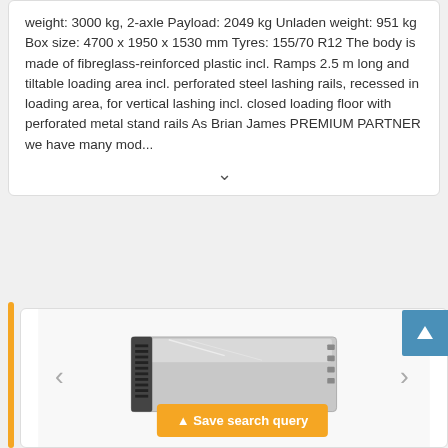weight: 3000 kg, 2-axle Payload: 2049 kg Unladen weight: 951 kg Box size: 4700 x 1950 x 1530 mm Tyres: 155/70 R12 The body is made of fibreglass-reinforced plastic incl. Ramps 2.5 m long and tiltable loading area incl. perforated steel lashing rails, recessed in loading area, for vertical lashing incl. closed loading floor with perforated metal stand rails As Brian James PREMIUM PARTNER we have many mod...
[Figure (photo): Product image of a trailer or cargo box unit, metallic/silver colored, with navigation arrows on left and right sides and a save search query button overlay at the bottom.]